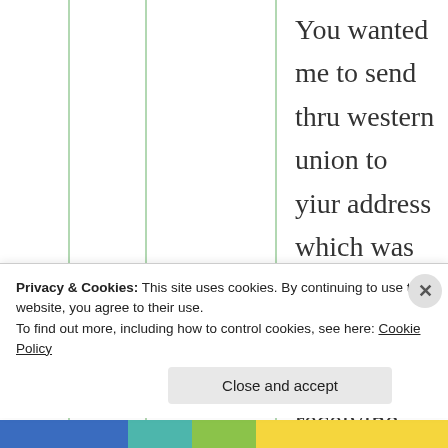You wanted me to send thru western union to yiur address which was not possible coz in India only receiving services I inquired all most all the cities. You suggested to send thry courier it was impossible n illegal. All these impossible ways
Privacy & Cookies: This site uses cookies. By continuing to use this website, you agree to their use.
To find out more, including how to control cookies, see here: Cookie Policy